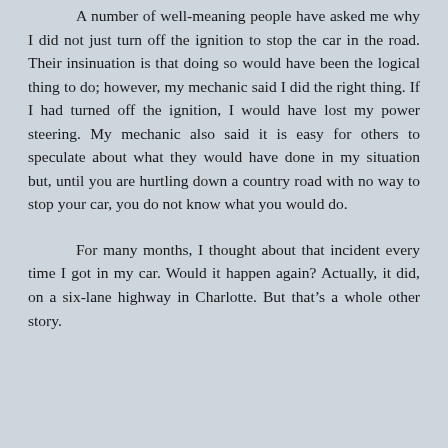A number of well-meaning people have asked me why I did not just turn off the ignition to stop the car in the road. Their insinuation is that doing so would have been the logical thing to do; however, my mechanic said I did the right thing. If I had turned off the ignition, I would have lost my power steering. My mechanic also said it is easy for others to speculate about what they would have done in my situation but, until you are hurtling down a country road with no way to stop your car, you do not know what you would do.
For many months, I thought about that incident every time I got in my car. Would it happen again? Actually, it did, on a six-lane highway in Charlotte. But that’s a whole other story.